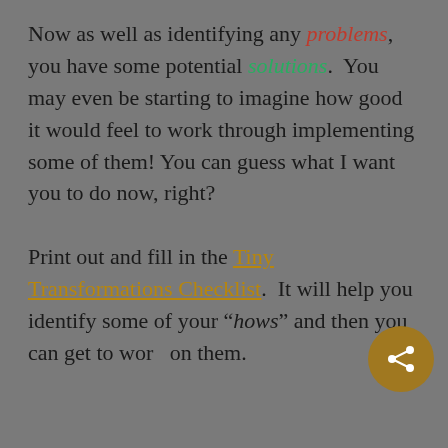Now as well as identifying any problems, you have some potential solutions.  You may even be starting to imagine how good it would feel to work through implementing some of them! You can guess what I want you to do now, right?

Print out and fill in the Tiny Transformations Checklist.  It will help you identify some of your "hows" and then you can get to work on them.